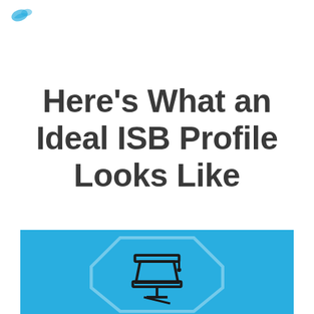Here’s What an Ideal ISB Profile Looks Like
[Figure (illustration): Blue background panel with a graduation cap / mortarboard icon inside an octagonal badge shape outline. The icon consists of a mortarboard hat drawn in black lines on a cyan/sky-blue background.]